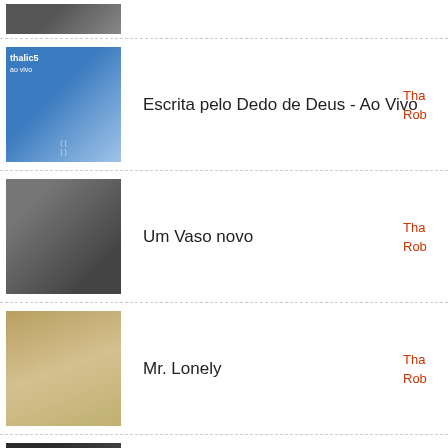(top partial item - album art only)
Escrita pelo Dedo de Deus - Ao Vivo | Tha... Rob...
Um Vaso novo | Tha... Rob...
Mr. Lonely | Tha... Rob...
Amor Maravilhoso | Tha... Rob...
You, the Ocean and Me - Alternate Version | Tha... Rob...
O Que Queres de Mim | Tha... Rob...